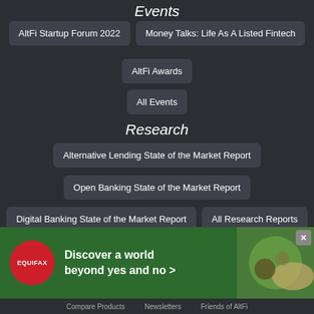Events
AltFi Startup Forum 2022
Money Talks: Life As A Listed Fintech
AltFi Awards
All Events
Research
Alternative Lending State of the Market Report
Open Banking State of the Market Report
Digital Banking State of the Market Report
All Research Reports
Jobs
Community
Companies
People
[Figure (infographic): Equifax advertisement banner: 'Discover a world beyond yes and no >' with Equifax logo on green background with hands imagery]
Compare Products   Newsletters   Friends of AltFi